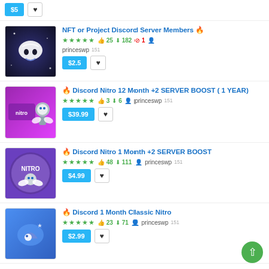[Figure (screenshot): Partial top listing showing $5 buy button and heart button]
NFT or Project Discord Server Members 🔥 — ★★★★★, 25 likes, 182 downloads, 1 cancel, princeswp 151 — $2.5
🔥 Discord Nitro 12 Month +2 SERVER BOOST ( 1 YEAR) — ★★★★★, 3 likes, 6 downloads, princeswp 151 — $39.99
🔥 Discord Nitro 1 Month +2 SERVER BOOST — ★★★★★, 48 likes, 111 downloads, princeswp 151 — $4.99
🔥 Discord 1 Month Classic Nitro — ★★★★★, 23 likes, 71 downloads, princeswp 151 — $2.99